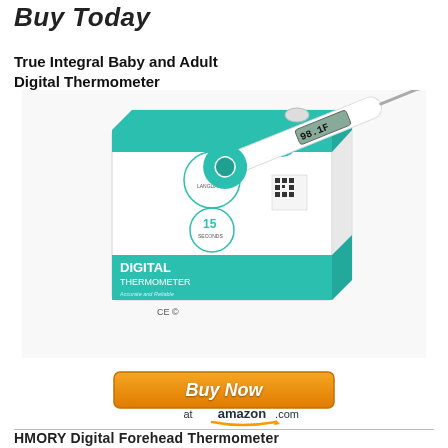Buy Today
True Integral Baby and Adult Digital Thermometer
[Figure (photo): True Integral Baby and Adult Digital Thermometer product photo showing the box packaging and the thermometer device with teal/green accents and digital display reading 98.1F]
[Figure (screenshot): Buy Now at amazon.com button with orange gradient background]
HMORY Digital Forehead Thermometer